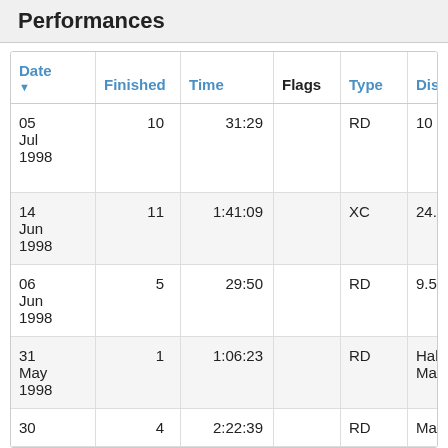Performances
| Date | Finished | Time | Flags | Type | Distance | S |
| --- | --- | --- | --- | --- | --- | --- |
| 05 Jul 1998 | 10 | 31:29 |  | RD | 10 km | G P s I |
| 14 Jun 1998 | 11 | 1:41:09 |  | XC | 24.5 km | I |
| 06 Jun 1998 | 5 | 29:50 |  | RD | 9.5 km | G I |
| 31 May 1998 | 1 | 1:06:23 |  | RD | Half Mara | R |
| 30 | 4 | 2:22:39 |  | RD | Marathon | M |